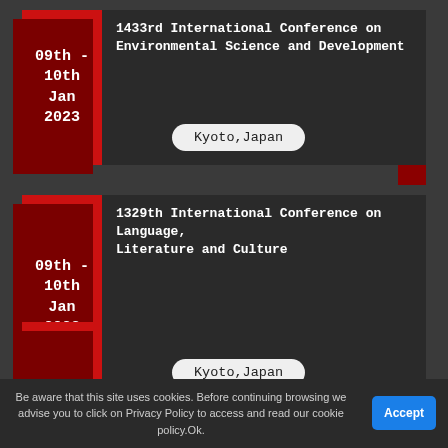1433rd International Conference on Environmental Science and Development
09th - 10th Jan 2023
Kyoto, Japan
1329th International Conference on Language, Literature and Culture
09th - 10th Jan 2023
Kyoto, Japan
Be aware that this site uses cookies. Before continuing browsing we advise you to click on Privacy Policy to access and read our cookie policy.Ok.